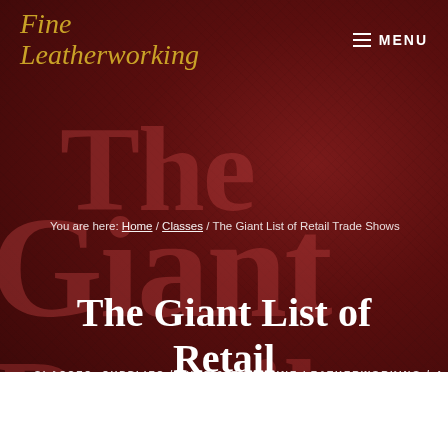[Figure (screenshot): Website header for Fine Leatherworking blog with dark red leather texture background, logo, menu button, breadcrumb navigation, article title 'The Giant List of Retail Trade Shows', and metadata line]
Fine Leatherworking | MENU
You are here: Home / Classes / The Giant List of Retail Trade Shows
The Giant List of Retail Trade Shows
CLASSES, SUPPLIES / JUNE 29TH by FINE LEATHERWORKING / 4 COMMENTS